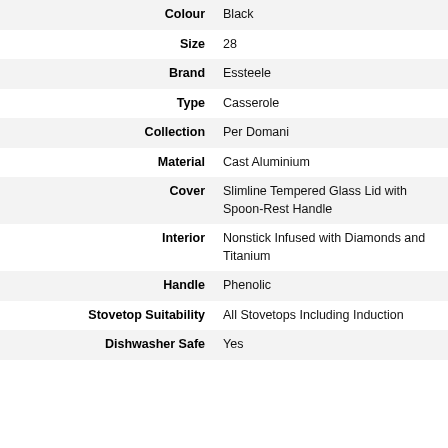| Attribute | Value |
| --- | --- |
| Colour | Black |
| Size | 28 |
| Brand | Essteele |
| Type | Casserole |
| Collection | Per Domani |
| Material | Cast Aluminium |
| Cover | Slimline Tempered Glass Lid with Spoon-Rest Handle |
| Interior | Nonstick Infused with Diamonds and Titanium |
| Handle | Phenolic |
| Stovetop Suitability | All Stovetops Including Induction |
| Dishwasher Safe | Yes |